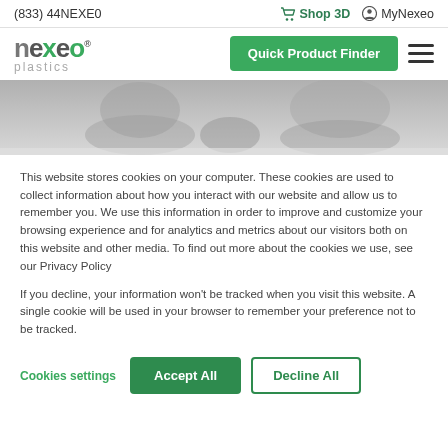(833) 44NEXEO   Shop 3D   MyNexeo
[Figure (logo): Nexeo Plastics logo with green and gray text, Quick Product Finder green button, and hamburger menu icon]
[Figure (photo): Grayscale hero image showing people interacting, appears to be hands on a surface]
This website stores cookies on your computer. These cookies are used to collect information about how you interact with our website and allow us to remember you. We use this information in order to improve and customize your browsing experience and for analytics and metrics about our visitors both on this website and other media. To find out more about the cookies we use, see our Privacy Policy
If you decline, your information won’t be tracked when you visit this website. A single cookie will be used in your browser to remember your preference not to be tracked.
Cookies settings   Accept All   Decline All